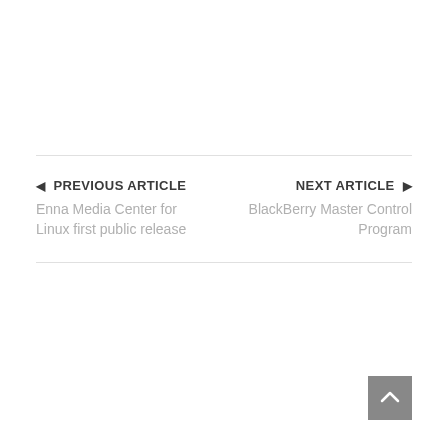◀ PREVIOUS ARTICLE
Enna Media Center for Linux first public release
NEXT ARTICLE ▶
BlackBerry Master Control Program